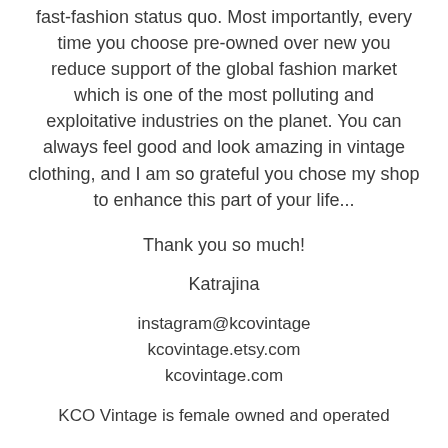fast-fashion status quo. Most importantly, every time you choose pre-owned over new you reduce support of the global fashion market which is one of the most polluting and exploitative industries on the planet. You can always feel good and look amazing in vintage clothing, and I am so grateful you chose my shop to enhance this part of your life...
Thank you so much!
Katrajina
instagram@kcovintage
kcovintage.etsy.com
kcovintage.com
KCO Vintage is female owned and operated